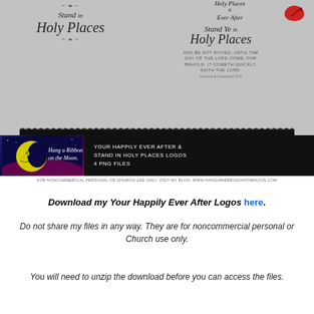[Figure (illustration): Advertisement image showing 'Hang a Ribbon on the Moon' branding with Holy Places and Happily Ever After logos on gray background with scalloped black banner, moon face graphic, and small print footer.]
Download my Your Happily Ever After Logos here.
Do not share my files in any way. They are for noncommercial personal or Church use only.
You will need to unzip the download before you can access the files.